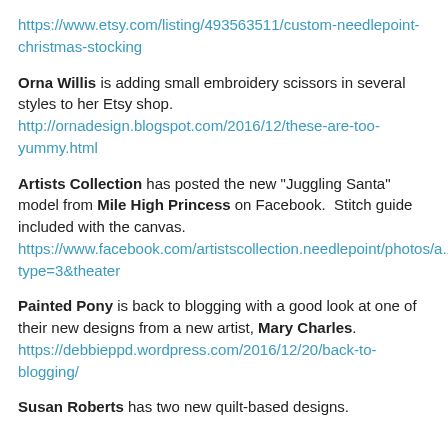https://www.etsy.com/listing/493563511/custom-needlepoint-christmas-stocking
Orna Willis is adding small embroidery scissors in several styles to her Etsy shop. http://ornadesign.blogspot.com/2016/12/these-are-too-yummy.html
Artists Collection has posted the new "Juggling Santa" model from Mile High Princess on Facebook.  Stitch guide included with the canvas. https://www.facebook.com/artistscollection.needlepoint/photos/a.174416246093000.1073741829.174411102760181/593522747515679/?type=3&theater
Painted Pony is back to blogging with a good look at one of their new designs from a new artist, Mary Charles. https://debbieppd.wordpress.com/2016/12/20/back-to-blogging/
Susan Roberts has two new quilt-based designs.